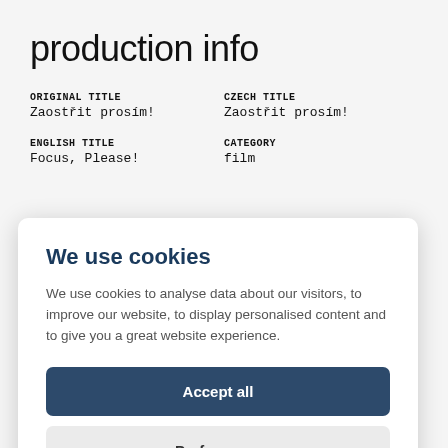production info
ORIGINAL TITLE
Zaostřit prosím!
CZECH TITLE
Zaostřit prosím!
ENGLISH TITLE
Focus, Please!
CATEGORY
film
[Figure (screenshot): Cookie consent overlay dialog with title 'We use cookies', body text, Accept all button, and Preferences button]
/unsuitable for youths/ /kind
Sevastopol /5½ týdne/ Svornost